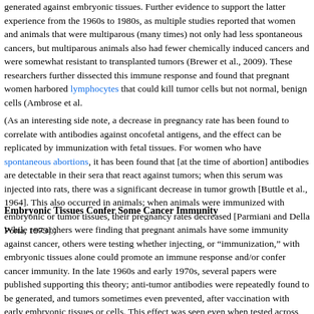generated against embryonic tissues. Further evidence to support the latter experience from the 1960s to 1980s, as multiple studies reported that women and animals that were multiparous (many times) not only had less spontaneous cancers, but multiparous animals also had fewer chemically induced cancers and were somewhat resistant to transplanted tumors (Brewer et al., 2009). These researchers further dissected this immune response and found that pregnant women harbored lymphocytes that could kill tumor cells but not normal, benign cells (Ambrose et al.
(As an interesting side note, a decrease in pregnancy rate has been found to correlate with antibodies against oncofetal antigens, and the effect can be replicated by immunization with fetal tissues. For women who have spontaneous abortions, it has been found that [at the time of abortion] antibodies are detectable in their sera that react against tumors; when this serum was injected into rats, there was a significant decrease in tumor growth [Buttle et al., 1964]. This also occurred in animals; when animals were immunized with embryonic or tumor tissues, their pregnancy rates decreased [Parmiani and Della Porta, 1973].)
Embryonic Tissues Confer Some Cancer Immunity
While researchers were finding that pregnant animals have some immunity against cancer, others were testing whether injecting, or “immunization,” with embryonic tissues alone could promote an anti-tumor immune response and/or confer cancer immunity. In the late 1960s and early 1970s, several papers were published supporting this theory; anti-tumor antibodies were repeatedly found to be generated, and tumors sometimes even prevented, after vaccination with early embryonic tissues or cells. This effect was seen even when tested across different species, revealing the presence of conserved antigens across species. In 1970, researchers found that rabbits immunized with homogenized 9-day-old mouse embryos produced antibodies that cross-reacted with 72 different mouse tumors from 12 different tissue types (both “spontaneously” or induced by viruses or chemicals). The antibodies, as expected, also reacted with embryonic tissues, and, strangely, adult skin (but no other adult tissues) (1970, Sit embryos also conferred an immune response; again, antibodies produced again